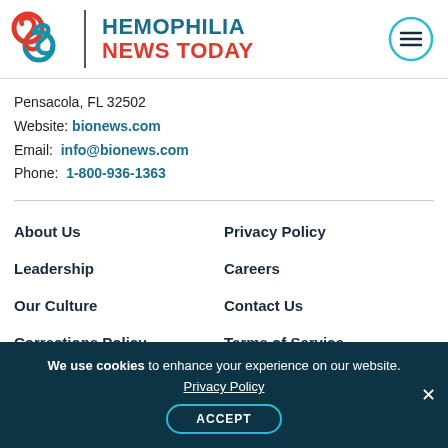[Figure (logo): Hemophilia News Today logo with red and blue interlocking circles, vertical divider, and brand text]
Pensacola, FL 32502
Website: bionews.com
Email: info@bionews.com
Phone: 1-800-936-1363
About Us
Privacy Policy
Leadership
Careers
Our Culture
Contact Us
Corrections Policy
Terms of Service
We use cookies to enhance your experience on our website. Privacy Policy ACCEPT